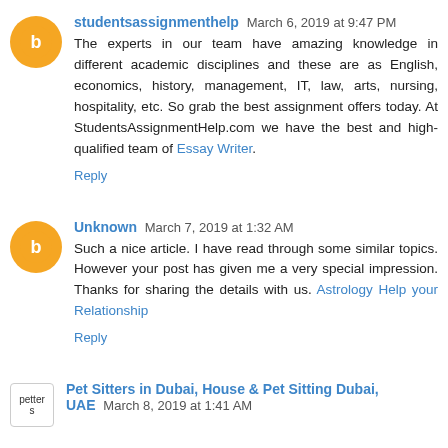studentsassignmenthelp March 6, 2019 at 9:47 PM
The experts in our team have amazing knowledge in different academic disciplines and these are as English, economics, history, management, IT, law, arts, nursing, hospitality, etc. So grab the best assignment offers today. At StudentsAssignmentHelp.com we have the best and high-qualified team of Essay Writer.
Reply
Unknown March 7, 2019 at 1:32 AM
Such a nice article. I have read through some similar topics. However your post has given me a very special impression. Thanks for sharing the details with us. Astrology Help your Relationship
Reply
Pet Sitters in Dubai, House & Pet Sitting Dubai, UAE March 8, 2019 at 1:41 AM